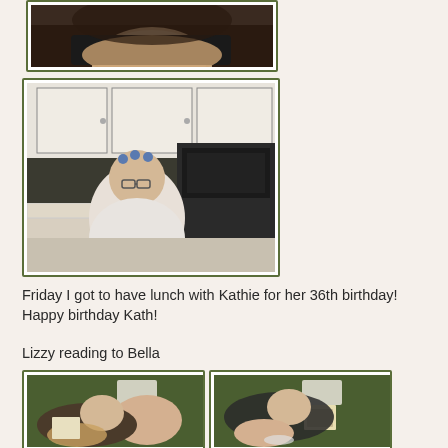[Figure (photo): Partial photo of person cropped at top, showing shoulders and hat, dark background]
[Figure (photo): Woman with curlers in hair wearing glasses and white top, standing in kitchen with white cabinets and black oven]
Friday I got to have lunch with Kathie for her 36th birthday! Happy birthday Kath!
Lizzy reading to Bella
[Figure (photo): Two side-by-side photos of two children reading a book together on a green couch, one child lying on another]